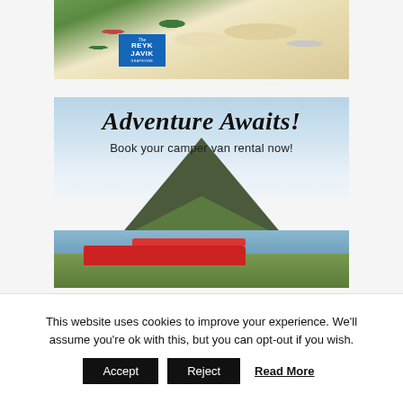[Figure (photo): Food photo showing a plate with salad greens, roasted tomatoes, and other food items, with a Reykjavik Grapevine logo badge overlay in the top left]
[Figure (photo): Adventure travel advertisement showing a dramatic mountain (Kirkjufell) rising above water with a camper van in the foreground and cloudy sky. Text overlay reads 'Adventure Awaits! Book your camper van rental now!']
This website uses cookies to improve your experience. We'll assume you're ok with this, but you can opt-out if you wish.
Accept | Reject | Read More